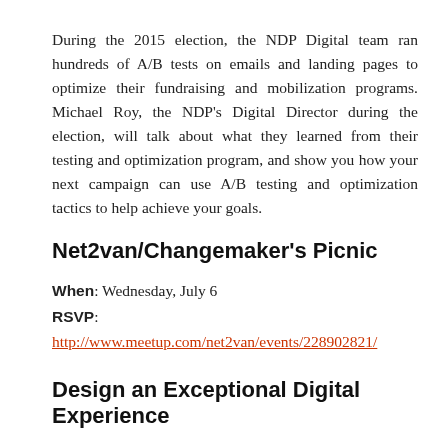During the 2015 election, the NDP Digital team ran hundreds of A/B tests on emails and landing pages to optimize their fundraising and mobilization programs. Michael Roy, the NDP's Digital Director during the election, will talk about what they learned from their testing and optimization program, and show you how your next campaign can use A/B testing and optimization tactics to help achieve your goals.
Net2van/Changemaker's Picnic
When: Wednesday, July 6
RSVP: http://www.meetup.com/net2van/events/228902821/
Design an Exceptional Digital Experience
When: Tuesday, July 12
RSVP: http://www.meetup.com/net2van/events/228948710/